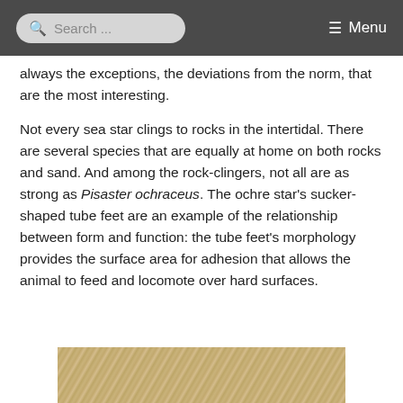Search ... Menu
always the exceptions, the deviations from the norm, that are the most interesting.
Not every sea star clings to rocks in the intertidal. There are several species that are equally at home on both rocks and sand. And among the rock-clingers, not all are as strong as Pisaster ochraceus. The ochre star's sucker-shaped tube feet are an example of the relationship between form and function: the tube feet's morphology provides the surface area for adhesion that allows the animal to feed and locomote over hard surfaces.
[Figure (photo): Sandy substrate background photo at the bottom of the page, partially cropped]